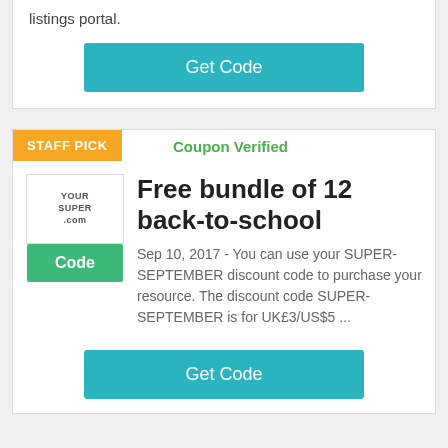listings portal.
Get Code
STAFF PICK
Coupon Verified
Free bundle of 12 back-to-school
Code
Sep 10, 2017 - You can use your SUPER-SEPTEMBER discount code to purchase your resource. The discount code SUPER-SEPTEMBER is for UK£3/US$5 ...
Get Code